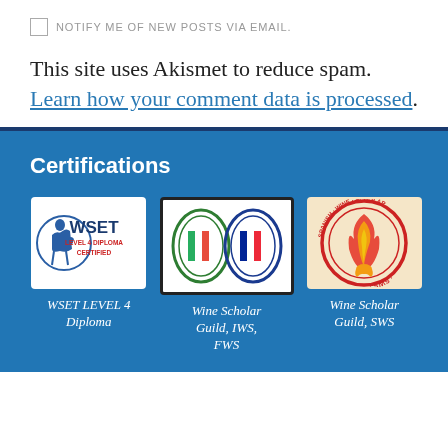NOTIFY ME OF NEW POSTS VIA EMAIL.
This site uses Akismet to reduce spam. Learn how your comment data is processed.
Certifications
[Figure (logo): WSET Level 4 Diploma Certified badge with figure holding wine glass]
WSET LEVEL 4 Diploma
[Figure (logo): Wine Scholar Guild IWS and FWS oval badges, green and blue]
Wine Scholar Guild, IWS, FWS
[Figure (logo): Spanish Wine Scholar SWS circular badge with red and yellow ribbon]
Wine Scholar Guild, SWS